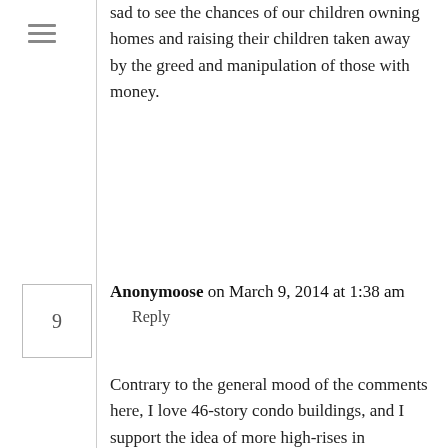sad to see the chances of our children owning homes and raising their children taken away by the greed and manipulation of those with money.
Anonymoose on March 9, 2014 at 1:38 am
Reply
Contrary to the general mood of the comments here, I love 46-story condo buildings, and I support the idea of more high-rises in Vancouver (...Toronto, Ottawa, heck, everywhere). I live in a beautiful Concord Pacific high-rise and it's amazing, I can't wait to buy a condo at the upcoming Park Ave buildings in Surrey (pool, tennis, roof-top gardens, golf, theaters, etc). Not only do I feel these high-rises offer a better way of living you could not afford otherwise, but they're also great for the environment, because when people live together in buildings like these, there is tremendous savings in heating/electricity costs, transportation costs,